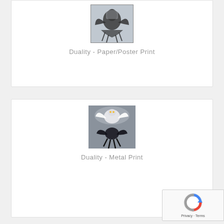[Figure (photo): Black and white artwork of a bird (owl/raven duality), partially cropped at top, paper/poster print product image]
Duality - Paper/Poster Print
[Figure (photo): Color artwork of two birds (white owl and black raven) fighting in mid-air against grey background, metal print product image]
Duality - Metal Print
[Figure (other): reCAPTCHA badge with logo, Privacy and Terms links]